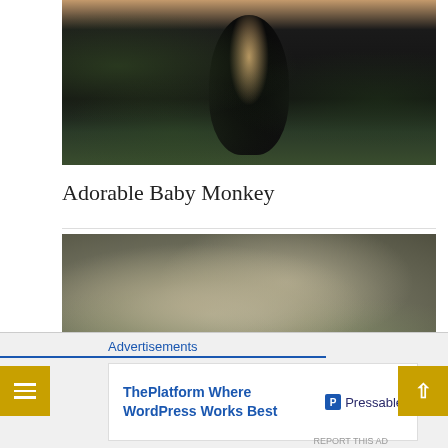[Figure (photo): Partial view of a black baby monkey with light brown/orange head fur, clinging to a branch, surrounded by green foliage]
Adorable Baby Monkey
[Figure (photo): Close-up of a mossy, lichen-covered rock or boulder with green moss patches, some brown woody elements visible underneath]
Advertisements
[Figure (screenshot): Advertisement banner: 'ThePlatform Where WordPress Works Best' with Pressable logo]